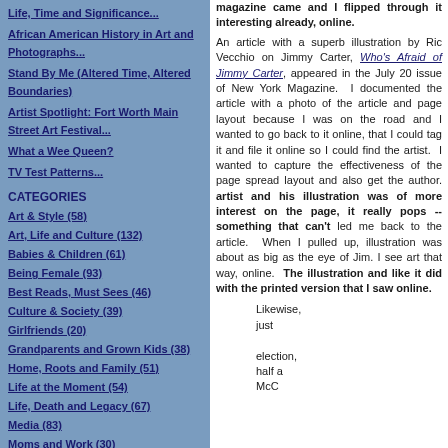Life, Time and Significance...
African American History in Art and Photographs...
Stand By Me (Altered Time, Altered Boundaries)
Artist Spotlight: Fort Worth Main Street Art Festival...
What a Wee Queen?
TV Test Patterns...
CATEGORIES
Art & Style (58)
Art, Life and Culture (132)
Babies & Children (61)
Being Female (93)
Best Reads, Must Sees (46)
Culture & Society (39)
Girlfriends (20)
Grandparents and Grown Kids (38)
Home, Roots and Family (51)
Life at the Moment (54)
Life, Death and Legacy (67)
Media (83)
Moms and Work (30)
magazine came and I flipped through it interesting already, online. An article with a superb illustration by Rick Vecchio on Jimmy Carter, Who's Afraid of Jimmy Carter, appeared in the July 20 issue of New York Magazine. I documented the article with a photo of the article and page layout because I was on the road and I wanted to go back to it online, that I could tag it and file it online so I could find the artist. I wanted to capture the effectiveness of the page spread layout and also get the author. The artist and his illustration was of more interest on the page, it really pops -- something that can't be led me back to the article. When I pulled it up, the illustration was about as big as the eye of Jim. I see art that way, online. The illustration and... like it did with the printed version that I saw online. Likewise, just election, half a McC...